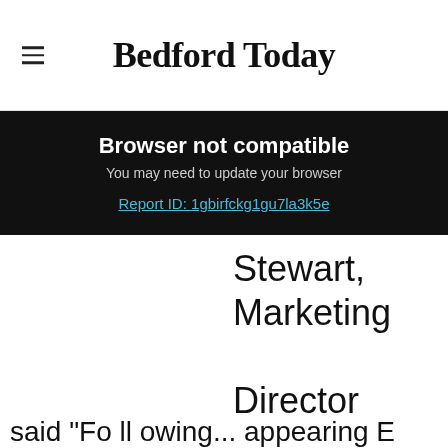Bedford Today
Browser not compatible
You may need to update your browser
Report ID: 1gbirfckg1gu7la3k5e
Stewart, Marketing Director for Nutella, Ferrero UK & Ireland,
said "Fo ll owing..." appearing E